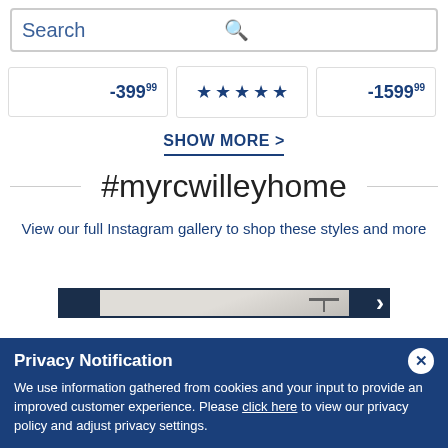[Figure (screenshot): Search bar with magnifying glass icon and placeholder text 'Search']
[Figure (screenshot): Product price strip showing -399.99 price card, five-star rating card, and -1599.99 price card]
SHOW MORE >
#myrcwilleyhome
View our full Instagram gallery to shop these styles and more
[Figure (photo): Dark navy blue background with a framed interior room photo showing a lamp/pendant light fixture in a light-colored room]
Privacy Notification
We use information gathered from cookies and your input to provide an improved customer experience. Please click here to view our privacy policy and adjust privacy settings.